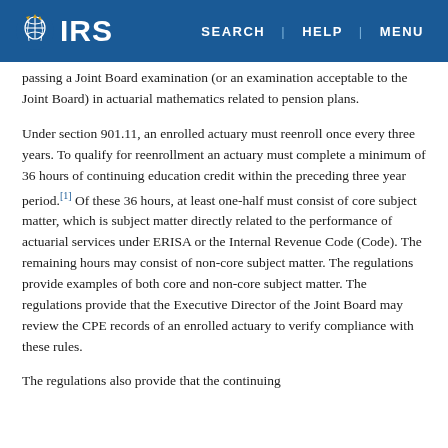IRS — SEARCH | HELP | MENU
passing a Joint Board examination (or an examination acceptable to the Joint Board) in actuarial mathematics related to pension plans.
Under section 901.11, an enrolled actuary must reenroll once every three years. To qualify for reenrollment an actuary must complete a minimum of 36 hours of continuing education credit within the preceding three year period.[1] Of these 36 hours, at least one-half must consist of core subject matter, which is subject matter directly related to the performance of actuarial services under ERISA or the Internal Revenue Code (Code). The remaining hours may consist of non-core subject matter. The regulations provide examples of both core and non-core subject matter. The regulations provide that the Executive Director of the Joint Board may review the CPE records of an enrolled actuary to verify compliance with these rules.
The regulations also provide that the continuing